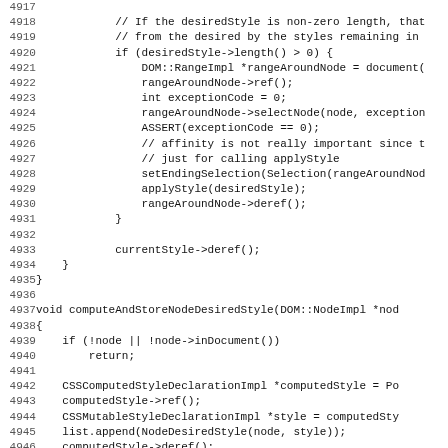Source code listing lines 4917-4948, showing C++ code for style computation and node style functions.